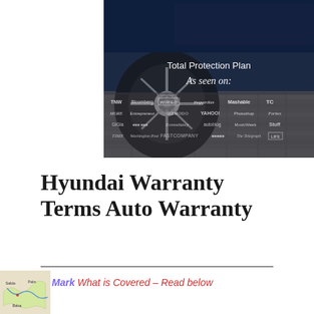[Figure (photo): Photo of a blue car wheel/tire close-up with pavement in background, overlaid with text 'Total Protection Plan', 'As seen on:' and a grid of media/publisher logos including TNW, Bloomberg, WIRED, theguardian, Mashable, TC, MORE, Entrepreneur, GIZMODO, YAHOO!, Photoshop, Forbes, GiGia, Econsultancy, autoblog, MusicWeek, Stuff, TIME, Washington Post, FASTCOMPANY, The Telegraph, LIFE]
Hyundai Warranty Terms Auto Warranty
Mark What is Covered – Read below